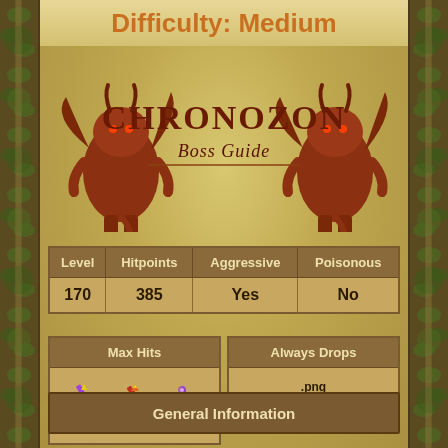Difficulty: Medium
[Figure (illustration): CHRONOZON Boss Guide header with two red dragon/demon creatures flanking the text 'CHRONOZON' in large styled letters with 'Boss Guide' in cursive below]
| Level | Hitpoints | Aggressive | Poisonous |
| --- | --- | --- | --- |
| 170 | 385 | Yes | No |
| Max Hits |
| --- |
| 30  35  0 |
| Always Drops |
| --- |
| .png
Ashes and Crest part |
General Information